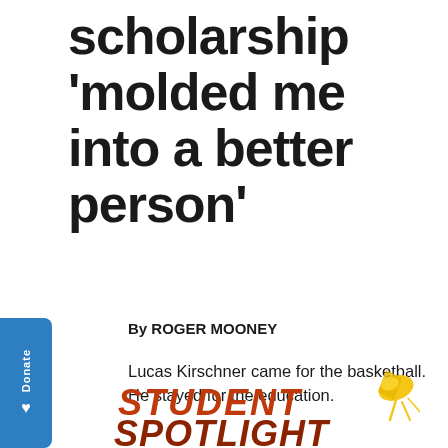scholarship 'molded me into a better person'
By ROGER MOONEY
Lucas Kirschner came for the basketball. He stayed for the education.
[Figure (logo): Student Spotlight logo with orange/dark red chunky hand-drawn text and a yellow spotlight lamp illustration]